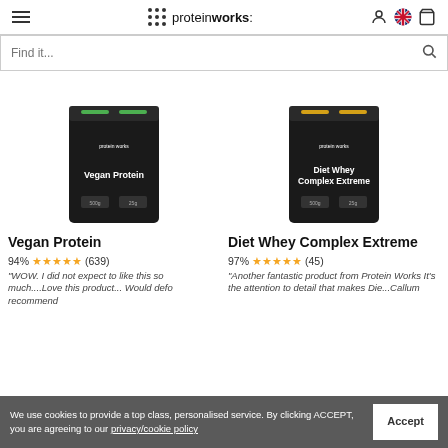protein works: navigation header with hamburger menu, logo, user icon, UK flag, cart icon
Find it...
[Figure (photo): Black protein powder bag labeled 'Vegan Protein' with green accent stripe]
Vegan Protein
94% ★★★★★ (639)
"WOW. I did not expect to like this so much....Love this product... Would defo recommend
[Figure (photo): Black protein powder bag labeled 'Diet Whey Complex Extreme' with gold accent stripe]
Diet Whey Complex Extreme
97% ★★★★★ (45)
"Another fantastic product from Protein Works It's the attention to detail that makes Die...Callum
We use cookies to provide a top class, personalised service. By clicking ACCEPT, you are agreeing to our privacy/cookie policy  Accept